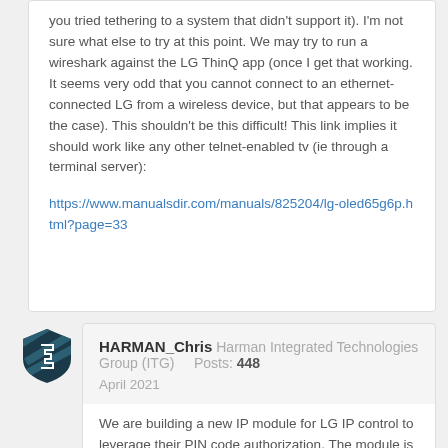you tried tethering to a system that didn't support it). I'm not sure what else to try at this point. We may try to run a wireshark against the LG ThinQ app (once I get that working. It seems very odd that you cannot connect to an ethernet-connected LG from a wireless device, but that appears to be the case). This shouldn't be this difficult! This link implies it should work like any other telnet-enabled tv (ie through a terminal server):
https://www.manualsdir.com/manuals/825204/lg-oled65g6p.html?page=33
[Figure (logo): Harman shield logo in dark teal with diagonal stripe pattern]
HARMAN_Chris  Harman Integrated Technologies Group (ITG)   Posts: 448  April 2021
We are building a new IP module for LG IP control to leverage their PIN code authorization. The module is in test and we are tweaking on the WOL